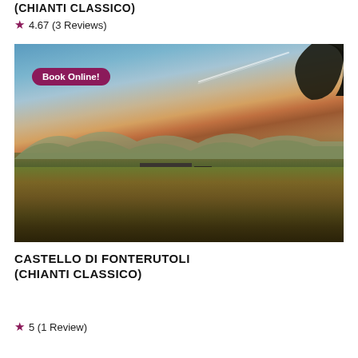(CHIANTI CLASSICO)
★ 4.67 (3 Reviews)
[Figure (photo): Aerial landscape photo at dusk showing a winery estate building surrounded by forested hills in the Chianti Classico region, with mountains in the background and a warm sunset sky. A 'Book Online!' badge overlays the top-left of the image.]
CASTELLO DI FONTERUTOLI (CHIANTI CLASSICO)
★ 5 (1 Review)